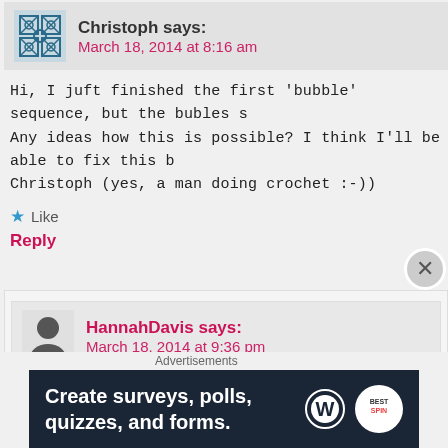Christoph says:
March 18, 2014 at 8:16 am
Hi, I juft finished the first ‘bubble’ sequence, but the bubles s Any ideas how this is possible? I think I’ll be able to fix this b Christoph (yes, a man doing crochet :-))
★ Like
Reply
HannahDavis says:
March 18, 2014 at 9:36 pm
Mine actually did that a bit too, though I’m not sure why. I ju when it happened. Maybe I should have tried a different m spontaneous and I don’t think I even made a swatch. I h
Advertisements
[Figure (screenshot): Advertisement banner: dark navy background with white text 'Create surveys, polls, quizzes, and forms.' with WordPress logo and a survey badge]